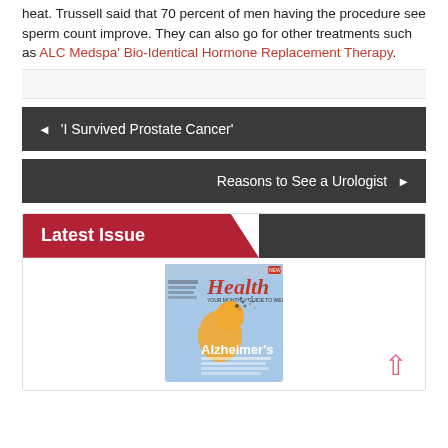heat. Trussell said that 70 percent of men having the procedure see sperm count improve. They can also go for other treatments such as ALC Medspa' Bio-Identical Hormone Replacement Therapy.
◄ 'I Survived Prostate Cancer'
Reasons to See a Urologist ►
Latest Issue
[Figure (illustration): Magazine cover showing 'Health' magazine with Alzheimer's issue featuring a person with brain particles dispersing and a yellow background.]